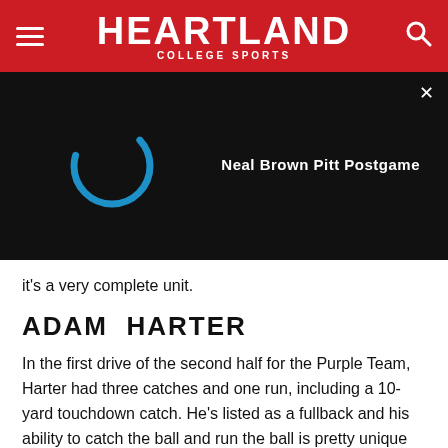HEARTLAND COLLEGE SPORTS
[Figure (screenshot): Video player loading screen with dark background, a spinning loader arc in teal/blue on the left, and white bold text 'Neal Brown Pitt Postgame' on the right. An X close button is in the upper right corner.]
it's a very complete unit.
ADAM HARTER
In the first drive of the second half for the Purple Team, Harter had three catches and one run, including a 10-yard touchdown catch. He's listed as a fullback and his ability to catch the ball and run the ball is pretty unique given his size of 6'2", 248. Harter is from Olathe, KS and spent the first half of his career at Butler C.C. He adds another element to this offense that should be interesting and have lots of weapons this fall. He finished his day with seven catches.